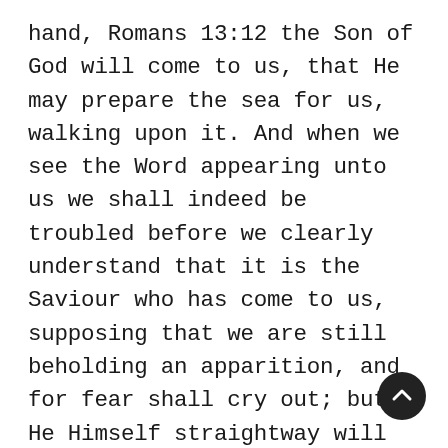hand, Romans 13:12 the Son of God will come to us, that He may prepare the sea for us, walking upon it. And when we see the Word appearing unto us we shall indeed be troubled before we clearly understand that it is the Saviour who has come to us, supposing that we are still beholding an apparition, and for fear shall cry out; but He Himself straightway will speak to us saying, Be of good cheer; it is I; be not afraid. Matthew 14:27 And if, warmly moved by His Be of good cheer, any Peter be found among us, who is on his way to perfection but has not yet become perfect, having gone down from the boat, as if coming out of that temptation in which he was distressed, he will indeed walk at first, wishing to come to Jesus upon the waters; but being as yet of little faith and as yet doubting, will see that the wind is